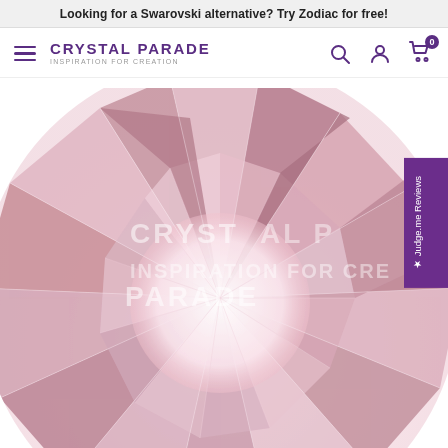Looking for a Swarovski alternative? Try Zodiac for free!
[Figure (logo): Crystal Parade logo with hamburger menu, search, user, and cart icons]
[Figure (photo): Close-up macro photograph of a large faceted crystal rhinestone in light pink/rose coloring with watermark text CRYSTAL PARADE overlay. A Judge.me Reviews vertical tab appears on the right side.]